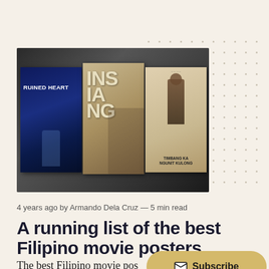[Figure (photo): Three Filipino movie posters displayed on a dark background: 'Ruined Heart' (blue poster), 'Insiang' (beige/gold poster with large stylized text), and 'Timbang Ka Ngunit Kulong' (vintage poster with standing figure). The image has a decorative dot grid pattern in the upper right.]
4 years ago by Armando Dela Cruz — 5 min read
A running list of the best Filipino movie posters
The best Filipino movie posters cinemas had the privilege of hanging.